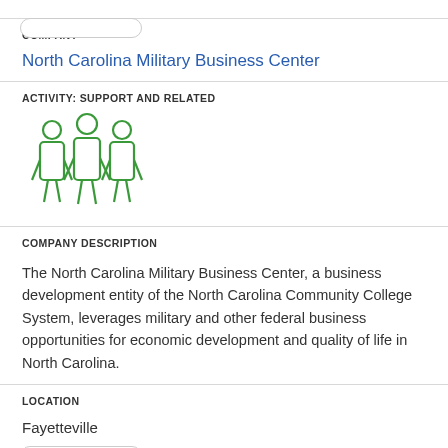COMPANY
North Carolina Military Business Center
ACTIVITY: SUPPORT AND RELATED
[Figure (illustration): Icon of three people (group/team) drawn in green outline style]
COMPANY DESCRIPTION
The North Carolina Military Business Center, a business development entity of the North Carolina Community College System, leverages military and other federal business opportunities for economic development and quality of life in North Carolina.
LOCATION
Fayetteville